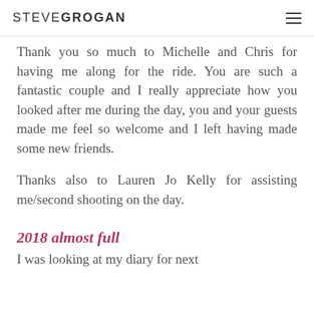STEVE GROGAN
Thank you so much to Michelle and Chris for having me along for the ride. You are such a fantastic couple and I really appreciate how you looked after me during the day, you and your guests made me feel so welcome and I left having made some new friends.
Thanks also to Lauren Jo Kelly for assisting me/second shooting on the day.
2018 almost full
I was looking at my diary for next